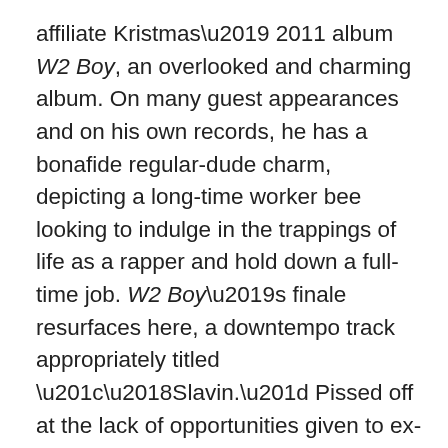affiliate Kristmas' 2011 album W2 Boy, an overlooked and charming album. On many guest appearances and on his own records, he has a bonafide regular-dude charm, depicting a long-time worker bee looking to indulge in the trappings of life as a rapper and hold down a full-time job. W2 Boy's finale resurfaces here, a downtempo track appropriately titled "'Slavin." Pissed off at the lack of opportunities given to ex-cons, he stresses and rages, a million miles from his otherwise agreeable personality. Puffed out, he confesses: “I been working for these crackas six years, my nigga, and ain’t gave me no raises yet.” A sample of a chain gang’s singing accompanies his words. The track’s confession closes out the compilation, its inclusion making Codie’s final point: free or not, post-slavery or no, people of the South are still held down and meant to accept their diminished societal roles. Codie G